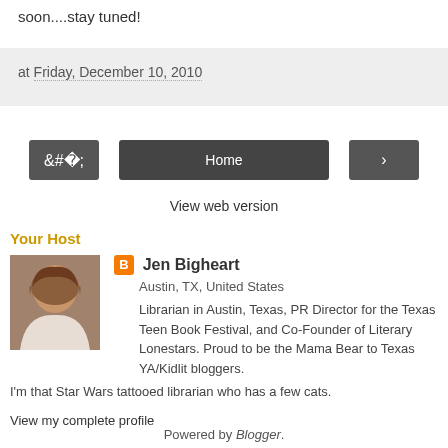soon....stay tuned!
at Friday, December 10, 2010
Home
View web version
Your Host
Jen Bigheart
Austin, TX, United States
Librarian in Austin, Texas, PR Director for the Texas Teen Book Festival, and Co-Founder of Literary Lonestars. Proud to be the Mama Bear to Texas YA/Kidlit bloggers. I'm that Star Wars tattooed librarian who has a few cats.
View my complete profile
Powered by Blogger.